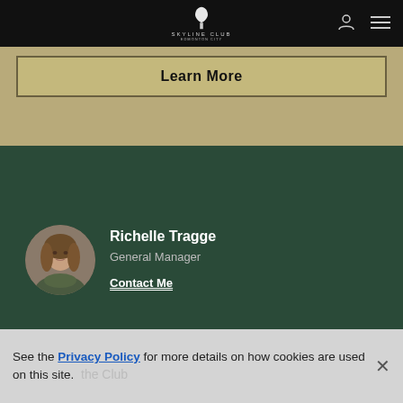Skyline Club
Learn More
[Figure (photo): Circular portrait photo of Richelle Tragge, a woman with long brown hair, smiling slightly]
Richelle Tragge
General Manager
Contact Me
See the Privacy Policy for more details on how cookies are used on this site.